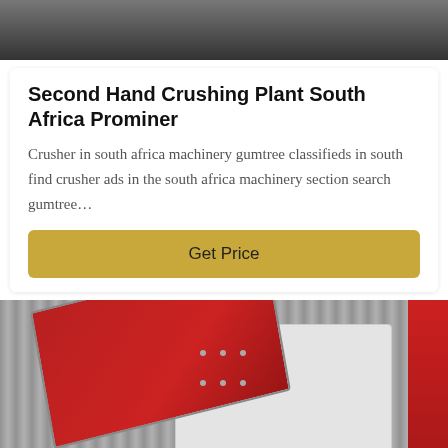[Figure (photo): Top portion of a dark surface, partially cropped at the top of the page]
Second Hand Crushing Plant South Africa Prominer
Crusher in south africa machinery gumtree classifieds in south find crusher ads in the south africa machinery section search gumtree…
Get Price
[Figure (photo): Industrial hammer crusher machine with red door panel and white body, standing in front of corrugated metal wall, with red equipment visible on the right edge]
Leave Message
Chat Online